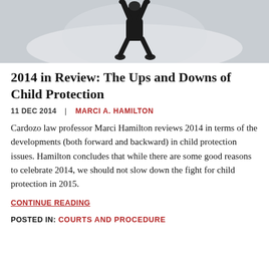[Figure (photo): A person doing a handstand on a light-colored floor, photographed from behind, wearing dark clothing.]
2014 in Review: The Ups and Downs of Child Protection
11 DEC 2014  |  MARCI A. HAMILTON
Cardozo law professor Marci Hamilton reviews 2014 in terms of the developments (both forward and backward) in child protection issues. Hamilton concludes that while there are some good reasons to celebrate 2014, we should not slow down the fight for child protection in 2015.
CONTINUE READING
POSTED IN: COURTS AND PROCEDURE